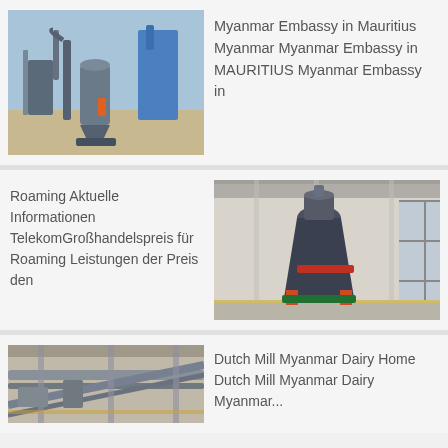[Figure (photo): Industrial machinery/plant equipment with blue structures and pipes outdoors]
Myanmar Embassy in Mauritius Myanmar Myanmar Embassy in MAURITIUS Myanmar Embassy in
[Figure (photo): Large industrial mill machine inside a warehouse/factory building]
Roaming Aktuelle Informationen TelekomGroßhandelspreis für Roaming Leistungen der Preis den
[Figure (photo): Industrial conveyor/machinery equipment inside a facility]
Dutch Mill Myanmar Dairy Home Dutch Mill Myanmar Dairy Myanmar...